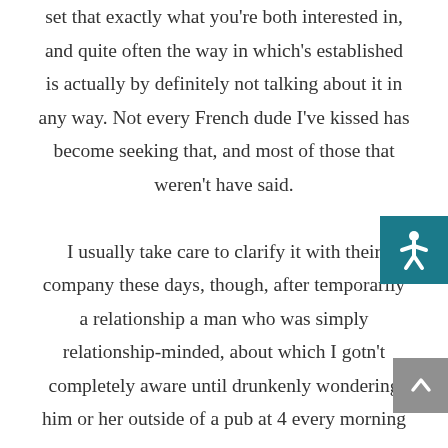set that exactly what you're both interested in, and quite often the way in which's established is actually by definitely not talking about it in any way. Not every French dude I've kissed has become seeking that, and most of those that weren't have said . I usually take care to clarify it with their company these days, though, after temporarily a relationship a man who was simply relationship-minded, about which I gotn't completely aware until drunkenly wondering him or her outside of a pub at 4 every morning